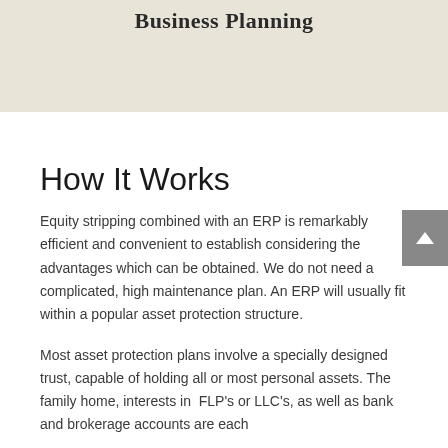Business Planning
How It Works
Equity stripping combined with an ERP is remarkably efficient and convenient to establish considering the advantages which can be obtained. We do not need a complicated, high maintenance plan. An ERP will usually fit within a popular asset protection structure.
Most asset protection plans involve a specially designed trust, capable of holding all or most personal assets. The family home, interests in FLP's or LLC's, as well as bank and brokerage accounts are each